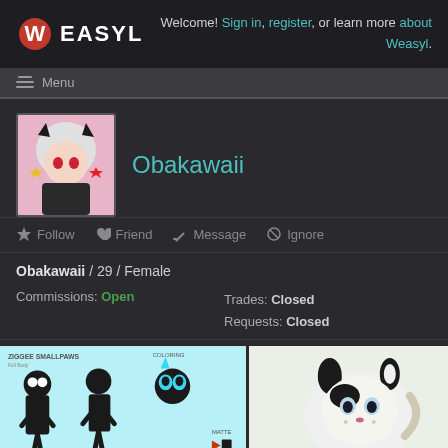Welcome! Sign in, register, or learn more about Weasyl.
Menu
[Figure (illustration): Avatar of Obakawaii user profile picture: anime-style character with white hair and red eyes]
Obakawaii
Follow  Friend  Message  Ignore
Obakawaii / 29 / Female
Commissions: Open
Trades: Closed
Requests: Closed
[Figure (illustration): Character reference sheet for Ziggee Smallpaws showing multiple poses on light blue background]
[Figure (illustration): Illustration of a small anime-style creature on light background]